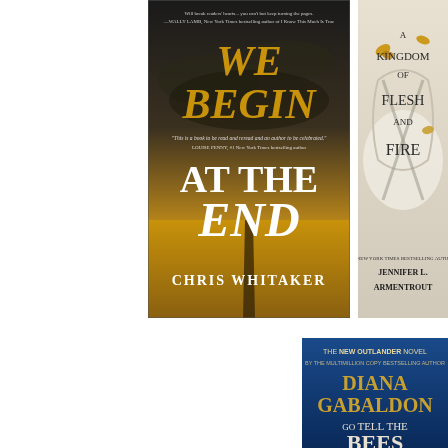[Figure (illustration): Book cover: 'We Begin at the End' by Chris Whitaker. Dark dramatic sky over a golden wheat field with a road leading into the distance. Title in large gold and white serif font, author name at bottom in white serif font. Includes review quotes at top.]
[Figure (illustration): Book cover: 'A Kingdom of Flesh and Fire' by Jennifer L. Armentrout. White sculptural design with golden butterflies and crossed swords. Title in elegant serif font, author name at bottom.]
[Figure (illustration): Book cover: 'Go Tell the Bees That I Am Gone' by Diana Gabaldon. Blue background with gold text. Labeled as 'The New Outlander Novel' by the multimillion copy bestselling author. Shows author name and partial title.]